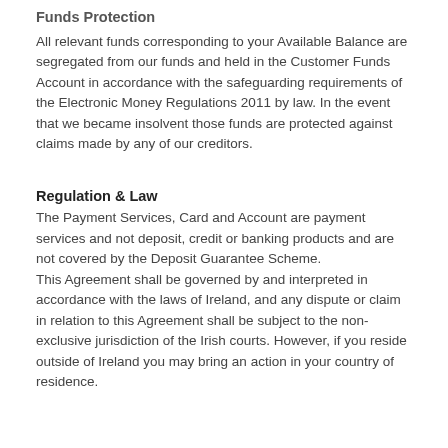Funds Protection
All relevant funds corresponding to your Available Balance are segregated from our funds and held in the Customer Funds Account in accordance with the safeguarding requirements of the Electronic Money Regulations 2011 by law. In the event that we became insolvent those funds are protected against claims made by any of our creditors.
Regulation & Law
The Payment Services, Card and Account are payment services and not deposit, credit or banking products and are not covered by the Deposit Guarantee Scheme.
This Agreement shall be governed by and interpreted in accordance with the laws of Ireland, and any dispute or claim in relation to this Agreement shall be subject to the non-exclusive jurisdiction of the Irish courts. However, if you reside outside of Ireland you may bring an action in your country of residence.
Fee and Limits Schedule
Fillit Cardholder Fees
Card Fee (including: Mastercard Chip PIN lost/stolen at same